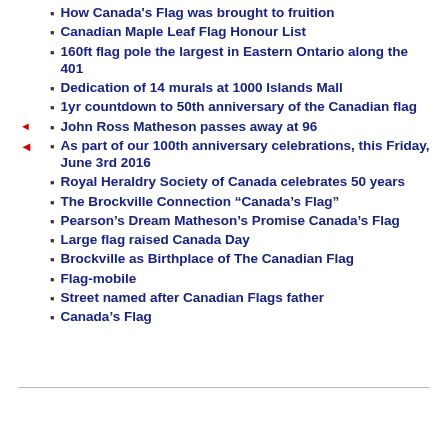How Canada's Flag was brought to fruition
Canadian Maple Leaf Flag Honour List
160ft flag pole the largest in Eastern Ontario along the 401
Dedication of 14 murals at 1000 Islands Mall
1yr countdown to 50th anniversary of the Canadian flag
John Ross Matheson passes away at 96
As part of our 100th anniversary celebrations, this Friday, June 3rd 2016
Royal Heraldry Society of Canada celebrates 50 years
The Brockville Connection “Canada’s Flag”
Pearson’s Dream Matheson’s Promise Canada’s Flag
Large flag raised Canada Day
Brockville as Birthplace of The Canadian Flag
Flag-mobile
Street named after Canadian Flags father
Canada’s Flag